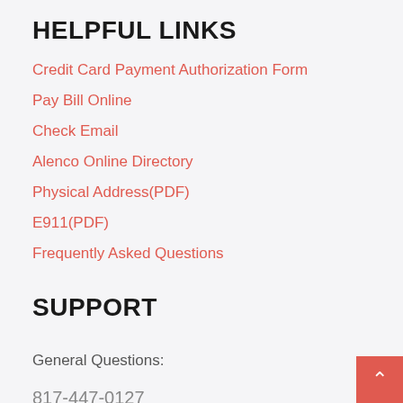HELPFUL LINKS
Credit Card Payment Authorization Form
Pay Bill Online
Check Email
Alenco Online Directory
Physical Address(PDF)
E911(PDF)
Frequently Asked Questions
SUPPORT
General Questions:
817-447-0127
24